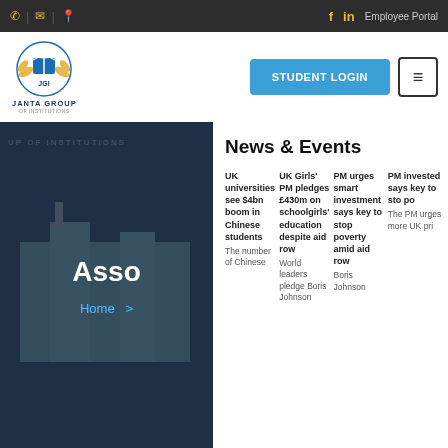Topbar with phone, email, location icons and social links (f, in), Employee Portal
[Figure (logo): Janta Group of Institutions logo with JGI emblem and text]
STUDENT LOGIN
[Figure (screenshot): Association background image with overlay text 'Asso' and Home navigation link]
News & Events
UK universities see $4bn boom in Chinese students | UK Girls' PM pledges £430m on schoolgirls' education despite aid row | PM urges smart investment says key to stop poverty | The number of Chinese Boris Johnson World leaders pledge The PM urges more UK pri
The number of Chinese